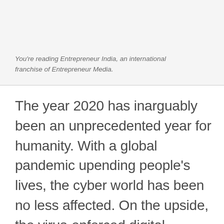You're reading Entrepreneur India, an international franchise of Entrepreneur Media.
The year 2020 has inarguably been an unprecedented year for humanity. With a global pandemic upending people's lives, the cyber world has been no less affected. On the upside, the virus-enforced digital transition in nearly all aspects of our lives has created massive momentum and scale for the uptake of cyber technologies. However, the